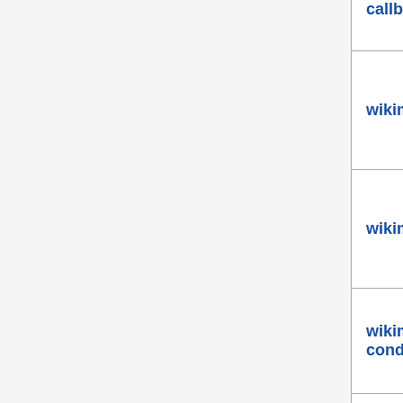| Package | Version | License |
| --- | --- | --- |
| callback |  | late... |
| wikimedia/timestamp | 3.0.0 | GPL 2.0- late... |
| wikimedia/utfnormal | 2.0.0 | GPL 2.0- late... |
| wikimedia/wait-condition-loop | 1.0.1 | GPL 2.0-... |
| wikimedia/wrappedstring | 3.0.1 | MIT |
| wikimedia/xmp-reader | 0.6.3 | GPL 2.0- late... |
| zordius/lightncandy | 0.23 | MIT |